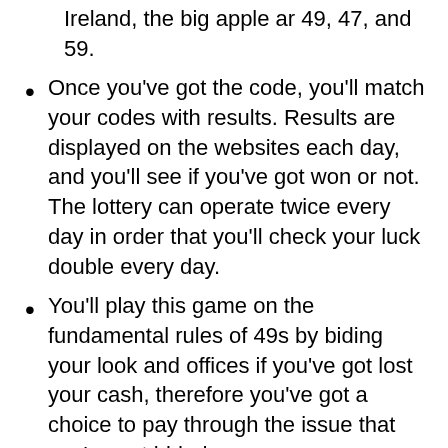Ireland, the big apple ar 49, 47, and 59.
Once you've got the code, you'll match your codes with results. Results are displayed on the websites each day, and you'll see if you've got won or not. The lottery can operate twice every day in order that you'll check your luck double every day.
You'll play this game on the fundamental rules of 49s by biding your look and offices if you've got lost your cash, therefore you've got a choice to pay through the issue that you've got bided.
This procedure can assist you to grasp